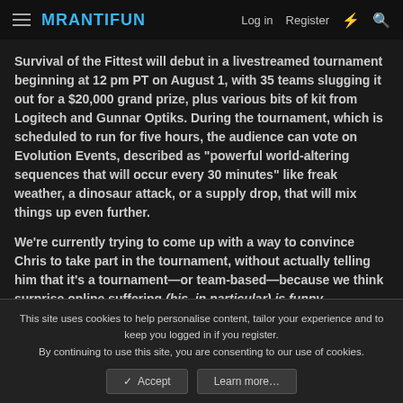MRANTIFUN  Log in  Register
Survival of the Fittest will debut in a livestreamed tournament beginning at 12 pm PT on August 1, with 35 teams slugging it out for a $20,000 grand prize, plus various bits of kit from Logitech and Gunnar Optiks. During the tournament, which is scheduled to run for five hours, the audience can vote on Evolution Events, described as "powerful world-altering sequences that will occur every 30 minutes" like freak weather, a dinosaur attack, or a supply drop, that will mix things up even further.
We're currently trying to come up with a way to convince Chris to take part in the tournament, without actually telling him that it's a tournament—or team-based—because we think surprise online suffering (his, in particular) is funny.
This site uses cookies to help personalise content, tailor your experience and to keep you logged in if you register.
By continuing to use this site, you are consenting to our use of cookies.